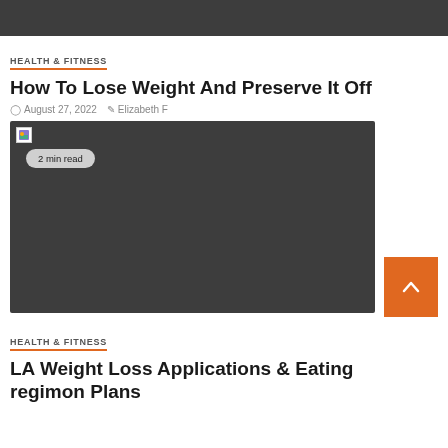[Figure (photo): Dark photograph at top of page, partially cropped]
HEALTH & FITNESS
How To Lose Weight And Preserve It Off
August 27, 2022  Elizabeth F
[Figure (photo): Dark gray rectangle image placeholder with '2 min read' badge]
HEALTH & FITNESS
LA Weight Loss Applications & Eating regimon Plans